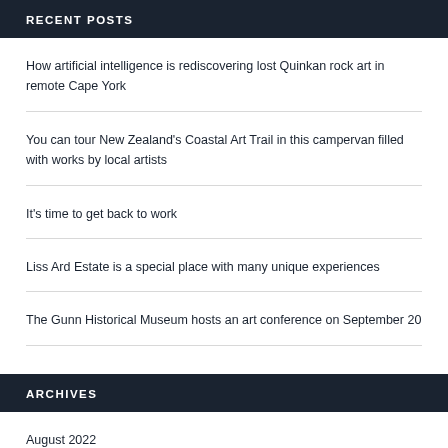RECENT POSTS
How artificial intelligence is rediscovering lost Quinkan rock art in remote Cape York
You can tour New Zealand's Coastal Art Trail in this campervan filled with works by local artists
It's time to get back to work
Liss Ard Estate is a special place with many unique experiences
The Gunn Historical Museum hosts an art conference on September 20
ARCHIVES
August 2022